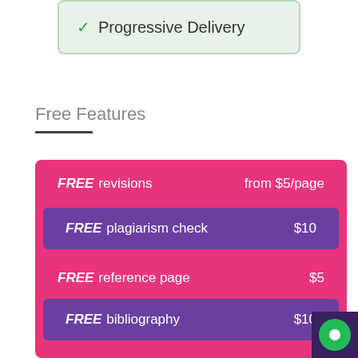✓ Progressive Delivery
Free Features
FREE revisions  from $5/page
FREE plagiarism check  $10
FREE reference page  $5
FREE bibliography  $10
FREE formatting  $5
FREE title page  $5
FREE outline  $15